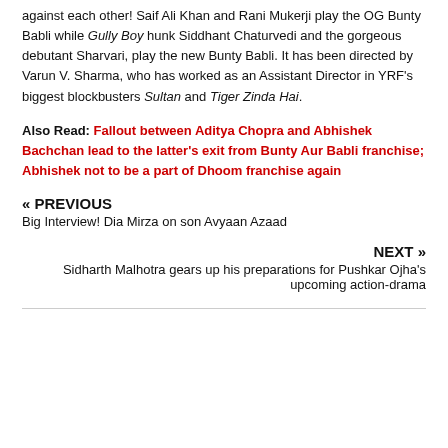against each other! Saif Ali Khan and Rani Mukerji play the OG Bunty Babli while Gully Boy hunk Siddhant Chaturvedi and the gorgeous debutant Sharvari, play the new Bunty Babli. It has been directed by Varun V. Sharma, who has worked as an Assistant Director in YRF's biggest blockbusters Sultan and Tiger Zinda Hai.
Also Read: Fallout between Aditya Chopra and Abhishek Bachchan lead to the latter's exit from Bunty Aur Babli franchise; Abhishek not to be a part of Dhoom franchise again
« PREVIOUS
Big Interview! Dia Mirza on son Avyaan Azaad
NEXT »
Sidharth Malhotra gears up his preparations for Pushkar Ojha's upcoming action-drama